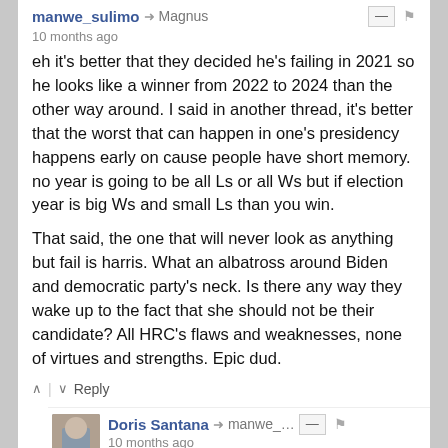manwe_sulimo → Magnus | 10 months ago
eh it's better that they decided he's failing in 2021 so he looks like a winner from 2022 to 2024 than the other way around. I said in another thread, it's better that the worst that can happen in one's presidency happens early on cause people have short memory. no year is going to be all Ls or all Ws but if election year is big Ws and small Ls than you win.

That said, the one that will never look as anything but fail is harris. What an albatross around Biden and democratic party's neck. Is there any way they wake up to the fact that she should not be their candidate? All HRC's flaws and weaknesses, none of virtues and strengths. Epic dud.
↑ | ↓   Reply
Doris Santana → manwe_… | 10 months ago